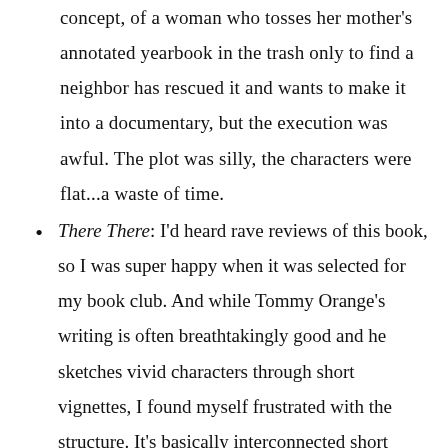concept, of a woman who tosses her mother's annotated yearbook in the trash only to find a neighbor has rescued it and wants to make it into a documentary, but the execution was awful. The plot was silly, the characters were flat...a waste of time.
There There: I'd heard rave reviews of this book, so I was super happy when it was selected for my book club. And while Tommy Orange's writing is often breathtakingly good and he sketches vivid characters through short vignettes, I found myself frustrated with the structure. It's basically interconnected short chapters from many points of view and I wanted a more cohesive